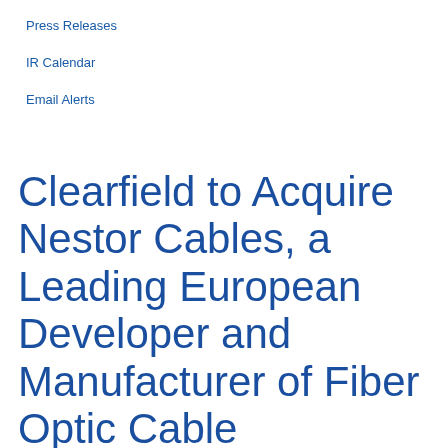Press Releases
IR Calendar
Email Alerts
Clearfield to Acquire Nestor Cables, a Leading European Developer and Manufacturer of Fiber Optic Cable